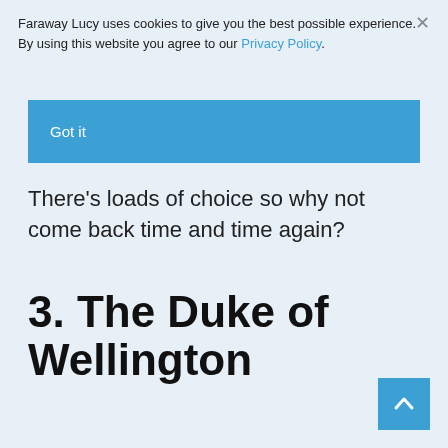Faraway Lucy uses cookies to give you the best possible experience. By using this website you agree to our Privacy Policy.
Got it
There's loads of choice so why not come back time and time again?
3. The Duke of Wellington